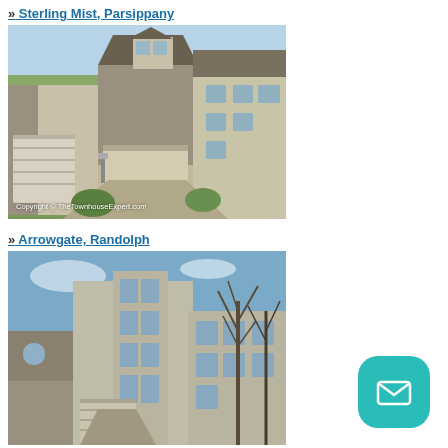» Sterling Mist, Parsippany
[Figure (photo): Exterior photo of Sterling Mist townhouse in Parsippany showing stone and siding facade with garage, front porch, and landscaping. Copyright © TheTownhouseExpert.com]
» Arrowgate, Randolph
[Figure (photo): Exterior photo of Arrowgate townhouse in Randolph showing multi-story building with stone accents, garages, and bare trees in background.]